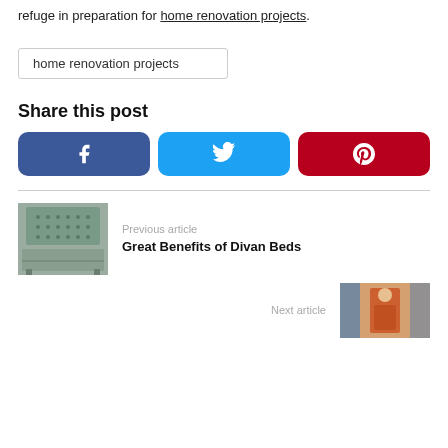refuge in preparation for home renovation projects.
[Figure (screenshot): Search box / tag link showing text: home renovation projects]
Share this post
[Figure (infographic): Three social media share buttons: Facebook (dark blue, f icon), Twitter (light blue, bird icon), Pinterest (dark red, p icon)]
[Figure (photo): Previous article thumbnail: image of a divan bed with tufted headboard in grey/green]
Previous article
Great Benefits of Divan Beds
Next article
[Figure (photo): Next article thumbnail: image of a person standing by curtains]